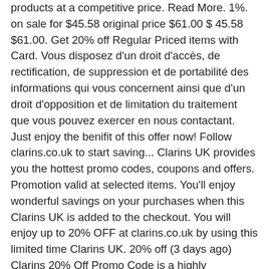products at a competitive price. Read More. 1%. on sale for $45.58 original price $61.00 $ 45.58 $61.00. Get 20% off Regular Priced items with Card. Vous disposez d'un droit d'accès, de rectification, de suppression et de portabilité des informations qui vous concernent ainsi que d'un droit d'opposition et de limitation du traitement que vous pouvez exercer en nous contactant. Just enjoy the benifit of this offer now! Follow clarins.co.uk to start saving... Clarins UK provides you the hottest promo codes, coupons and offers. Promotion valid at selected items. You'll enjoy wonderful savings on your purchases when this Clarins UK is added to the checkout. You will enjoy up to 20% OFF at clarins.co.uk by using this limited time Clarins UK. 20% off (3 days ago) Clarins 20% Off Promo Code is a highly recommended way to save at Clarins UK, but there are also have more ways. If you're looking for Clarins offers on products including Clarins Beauty Flash Balm, hand cream or other products and treatments for men then you have found the right place. Looking for a way to get more with less money? Enjoy saving money on Clarins UK